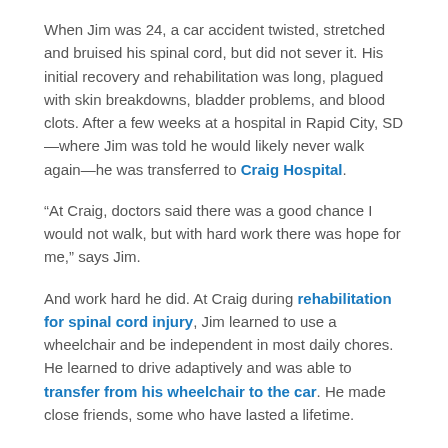When Jim was 24, a car accident twisted, stretched and bruised his spinal cord, but did not sever it. His initial recovery and rehabilitation was long, plagued with skin breakdowns, bladder problems, and blood clots. After a few weeks at a hospital in Rapid City, SD—where Jim was told he would likely never walk again—he was transferred to Craig Hospital.
“At Craig, doctors said there was a good chance I would not walk, but with hard work there was hope for me,” says Jim.
And work hard he did. At Craig during rehabilitation for spinal cord injury, Jim learned to use a wheelchair and be independent in most daily chores. He learned to drive adaptively and was able to transfer from his wheelchair to the car. He made close friends, some who have lasted a lifetime.